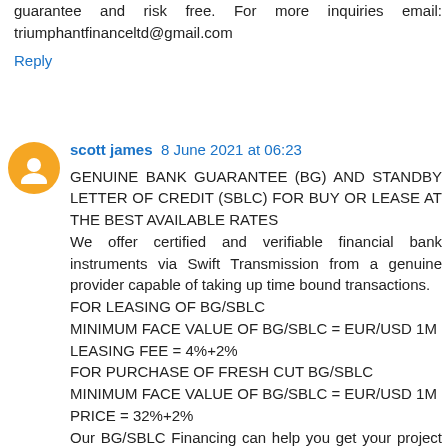guarantee and risk free. For more inquiries email: triumphantfinanceltd@gmail.com
Reply
scott james  8 June 2021 at 06:23
GENUINE BANK GUARANTEE (BG) AND STANDBY LETTER OF CREDIT (SBLC) FOR BUY OR LEASE AT THE BEST AVAILABLE RATES
We offer certified and verifiable financial bank instruments via Swift Transmission from a genuine provider capable of taking up time bound transactions.
FOR LEASING OF BG/SBLC
MINIMUM FACE VALUE OF BG/SBLC = EUR/USD 1M
LEASING FEE = 4%+2%
FOR PURCHASE OF FRESH CUT BG/SBLC
MINIMUM FACE VALUE OF BG/SBLC = EUR/USD 1M
PRICE = 32%+2%
Our BG/SBLC Financing can help you get your project funded,
loan financing by providing you with yearly.
RWA ready to close leasing with any interested client in few